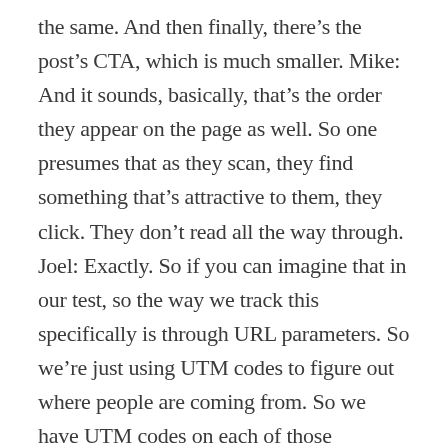the same. And then finally, there's the post's CTA, which is much smaller. Mike: And it sounds, basically, that's the order they appear on the page as well. So one presumes that as they scan, they find something that's attractive to them, they click. They don't read all the way through. Joel: Exactly. So if you can imagine that in our test, so the way we track this specifically is through URL parameters. So we're just using UTM codes to figure out where people are coming from. So we have UTM codes on each of those individual parts, the authority page, the